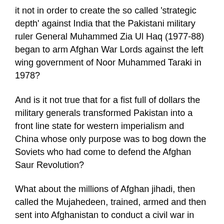it not in order to create the so called 'strategic depth' against India that the Pakistani military ruler General Muhammed Zia Ul Haq (1977-88) began to arm Afghan War Lords against the left wing government of Noor Muhammed Taraki in 1978?
And is it not true that for a fist full of dollars the military generals transformed Pakistan into a front line state for western imperialism and China whose only purpose was to bog down the Soviets who had come to defend the Afghan Saur Revolution?
What about the millions of Afghan jihadi, then called the Mujahedeen, trained, armed and then sent into Afghanistan to conduct a civil war in that country?
Imran Khan sheds crocodile tears over the misery that the Afghan people face today blaming it on the previous